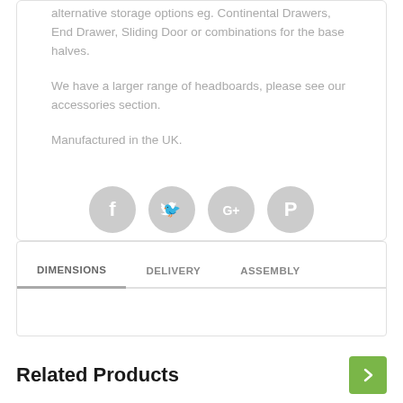alternative storage options eg. Continental Drawers, End Drawer, Sliding Door or combinations for the base halves.
We have a larger range of headboards, please see our accessories section.
Manufactured in the UK.
[Figure (infographic): Four circular social media icons in light grey: Facebook (f), Twitter (bird), Google+, Pinterest (P)]
DIMENSIONS   DELIVERY   ASSEMBLY
Related Products